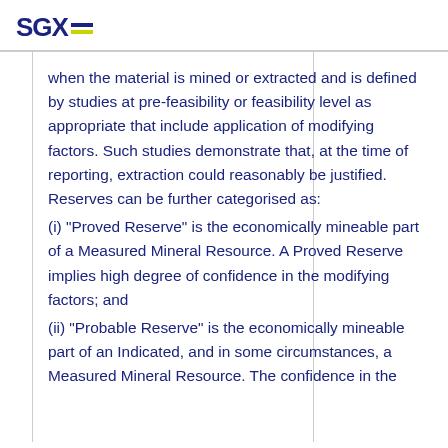SGX
when the material is mined or extracted and is defined by studies at pre-feasibility or feasibility level as appropriate that include application of modifying factors. Such studies demonstrate that, at the time of reporting, extraction could reasonably be justified. Reserves can be further categorised as:
(i) "Proved Reserve" is the economically mineable part of a Measured Mineral Resource. A Proved Reserve implies high degree of confidence in the modifying factors; and
(ii) "Probable Reserve" is the economically mineable part of an Indicated, and in some circumstances, a Measured Mineral Resource. The confidence in the